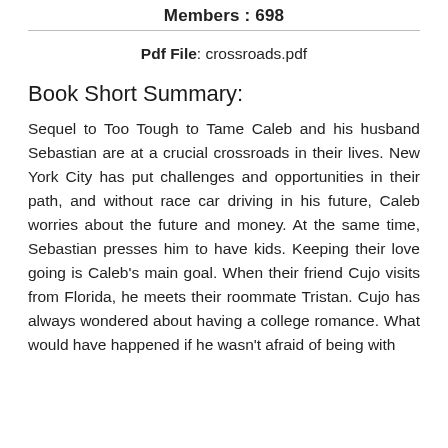Members: 698
Pdf File: crossroads.pdf
Book Short Summary:
Sequel to Too Tough to Tame Caleb and his husband Sebastian are at a crucial crossroads in their lives. New York City has put challenges and opportunities in their path, and without race car driving in his future, Caleb worries about the future and money. At the same time, Sebastian presses him to have kids. Keeping their love going is Caleb's main goal. When their friend Cujo visits from Florida, he meets their roommate Tristan. Cujo has always wondered about having a college romance. What would have happened if he wasn't afraid of being with